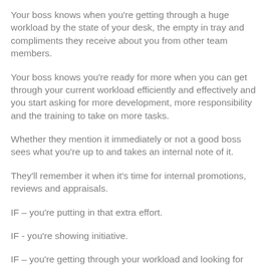Your boss knows when you're getting through a huge workload by the state of your desk, the empty in tray and compliments they receive about you from other team members.
Your boss knows you're ready for more when you can get through your current workload efficiently and effectively and you start asking for more development, more responsibility and the training to take on more tasks.
Whether they mention it immediately or not a good boss sees what you're up to and takes an internal note of it.
They'll remember it when it's time for internal promotions, reviews and appraisals.
IF – you're putting in that extra effort.
IF - you're showing initiative.
IF – you're getting through your workload and looking for more responsibility.